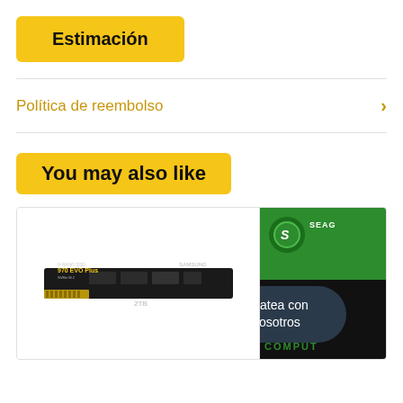Estimación
Política de reembolso
You may also like
[Figure (photo): Samsung 970 EVO Plus V-NAND SSD 2TB M.2 NVMe drive product image]
[Figure (photo): Seagate Barracuda Compute hard drive partial product box image]
Chatea con nosotros